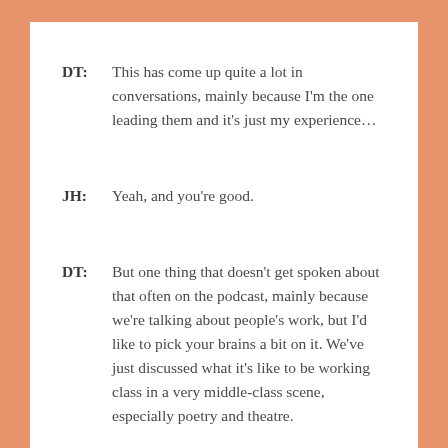DT: This has come up quite a lot in conversations, mainly because I'm the one leading them and it's just my experience…
JH: Yeah, and you're good.
DT: But one thing that doesn't get spoken about that often on the podcast, mainly because we're talking about people's work, but I'd like to pick your brains a bit on it. We've just discussed what it's like to be working class in a very middle-class scene, especially poetry and theatre. Out of all the artists I know, I'd say that the most...